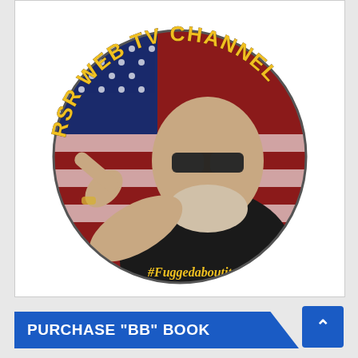[Figure (logo): RSR Web TV Channel logo: circular image showing a man with sunglasses and gray beard pointing at viewer, with American flag background and text '#Fuggedaboutit' on his jacket. The text 'RSR WEB TV CHANNEL' arcs around the top of the circle in gold/yellow letters with dark outline.]
PURCHASE "BB" BOOK